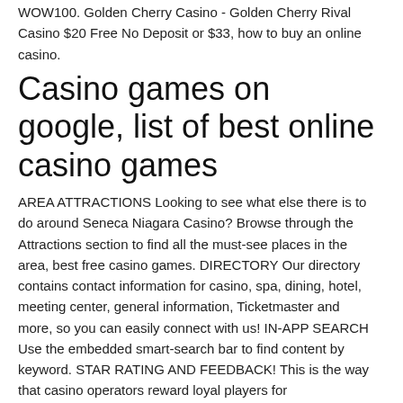WOW100. Golden Cherry Casino - Golden Cherry Rival Casino $20 Free No Deposit or $33, how to buy an online casino.
Casino games on google, list of best online casino games
AREA ATTRACTIONS Looking to see what else there is to do around Seneca Niagara Casino? Browse through the Attractions section to find all the must-see places in the area, best free casino games. DIRECTORY Our directory contains contact information for casino, spa, dining, hotel, meeting center, general information, Ticketmaster and more, so you can easily connect with us! IN-APP SEARCH Use the embedded smart-search bar to find content by keyword. STAR RATING AND FEEDBACK! This is the way that casino operators reward loyal players for